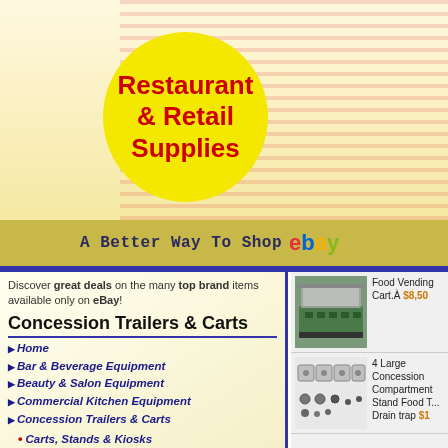[Figure (logo): Restaurant & Retail Supplies logo — yellow ellipse with red bold text]
A Better Way To Shop eBay
Discover great deals on the many top brand items available only on eBay!
Concession Trailers & Carts
Home
Bar & Beverage Equipment
Beauty & Salon Equipment
Commercial Kitchen Equipment
Concession Trailers & Carts
Carts, Stands & Kiosks
Concession Trailers
Other
Dry Cleaning & Laundromat
Furniture, Signs & Décor
Labeling & Tagging Supplies
Mannequins & Dress Forms
Other
Point of Sale Equipment
Racks & Fixtures
Refrigeration & Ice Machines
Restaurant & Catering
Retail & Services
Security & Surveillance
[Figure (photo): Food vending cart, green metal structure with glass display]
Food Vending Cart. $8,50
[Figure (photo): 4 large stainless steel compartment sinks for food stand]
4 Large Concession Compartment Stand Food T... Drain trap $1